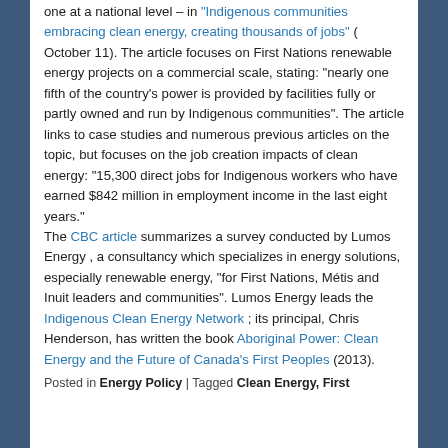one at a national level – in "Indigenous communities embracing clean energy, creating thousands of jobs" ( October 11). The article focuses on First Nations renewable energy projects on a commercial scale, stating: "nearly one fifth of the country's power is provided by facilities fully or partly owned and run by Indigenous communities". The article links to case studies and numerous previous articles on the topic, but focuses on the job creation impacts of clean energy: "15,300 direct jobs for Indigenous workers who have earned $842 million in employment income in the last eight years."
The CBC article summarizes a survey conducted by Lumos Energy , a consultancy which specializes in energy solutions, especially renewable energy, "for First Nations, Métis and Inuit leaders and communities". Lumos Energy leads the Indigenous Clean Energy Network ; its principal, Chris Henderson, has written the book Aboriginal Power: Clean Energy and the Future of Canada's First Peoples (2013).
Posted in Energy Policy | Tagged Clean Energy, First...